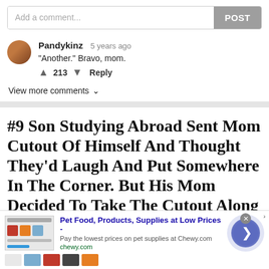Add a comment...
POST
Pandykinz  5 years ago
"Another." Bravo, mom.
▲ 213 ▼  Reply
View more comments ∨
#9 Son Studying Abroad Sent Mom Cutout Of Himself And Thought They'd Laugh And Put Somewhere In The Corner. But His Mom Decided To Take The Cutout Along To Family Gatherings
Pet Food, Products, Supplies at Low Prices -
Pay the lowest prices on pet supplies at Chewy.com
chewy.com